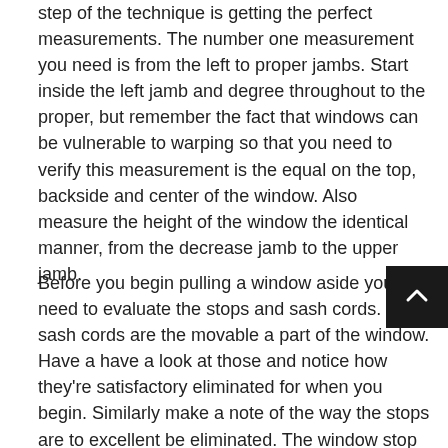step of the technique is getting the perfect measurements. The number one measurement you need is from the left to proper jambs. Start inside the left jamb and degree throughout to the proper, but remember the fact that windows can be vulnerable to warping so that you need to verify this measurement is the equal on the top, backside and center of the window. Also measure the height of the window the identical manner, from the decrease jamb to the upper jamb.
Before you begin pulling a window aside you need to evaluate the stops and sash cords. The sash cords are the movable a part of the window. Have a have a look at those and notice how they're satisfactory eliminated for when you begin. Similarly make a note of the way the stops are to excellent be eliminated. The window stop is the a part of the window that holds the sash vertically. The removal of these can on occasion be pretty elaborate and cause harm to different parts of the window. Avoid this by using taking a few moments to affirm how the window is held collectively and the way you can maximum efficaciously eliminate them from the window.